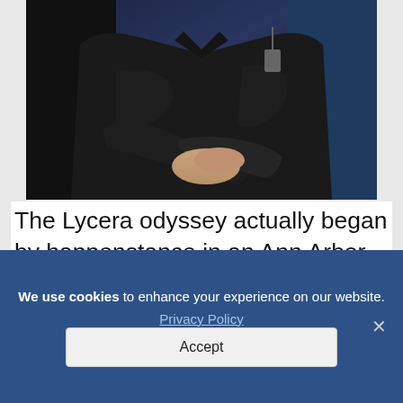[Figure (photo): Photo of a person in a dark leather jacket with arms crossed, standing against a dark blue background. Only the torso and arms are visible.]
The Lycera odyssey actually began by happenstance in an Ann Arbor supermarket, where Dr. Glick ran into Dr. Opipari and his wife Valerie Castle-
We use cookies to enhance your experience on our website. Privacy Policy Accept